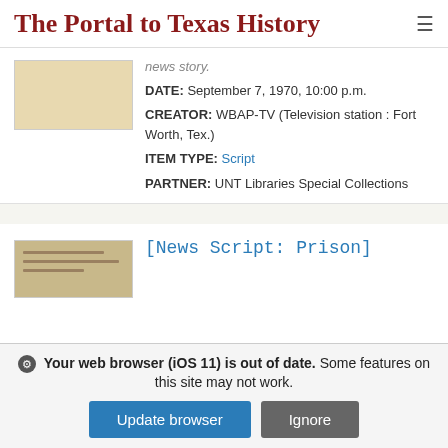The Portal to Texas History
news story.
DATE: September 7, 1970, 10:00 p.m.
CREATOR: WBAP-TV (Television station : Fort Worth, Tex.)
ITEM TYPE: Script
PARTNER: UNT Libraries Special Collections
[News Script: Prison]
Your web browser (iOS 11) is out of date. Some features on this site may not work.